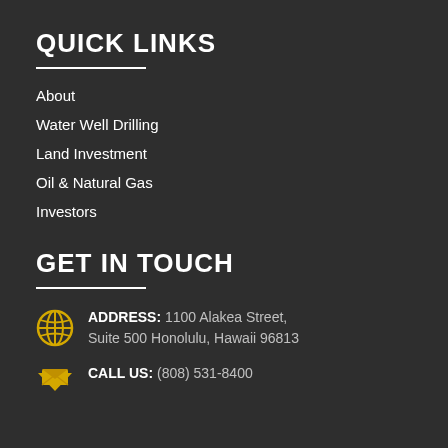QUICK LINKS
About
Water Well Drilling
Land Investment
Oil & Natural Gas
Investors
GET IN TOUCH
ADDRESS: 1100 Alakea Street, Suite 500 Honolulu, Hawaii 96813
CALL US: (808) 531-8400